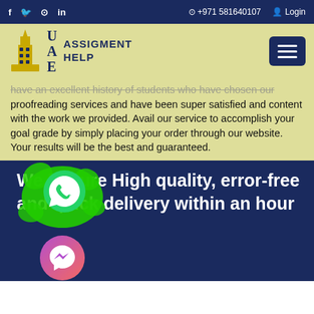f  🐦  📷  in    +971 581640107    Login
[Figure (logo): UAE Assignment Help logo with tower graphic and text]
have an excellent history of students who have chosen our proofreading services and have been super satisfied and content with the work we provided. Avail our service to accomplish your goal grade by simply placing your order through our website. Your results will be the best and guaranteed.
We Ensure High quality, error-free and quick delivery within an hour